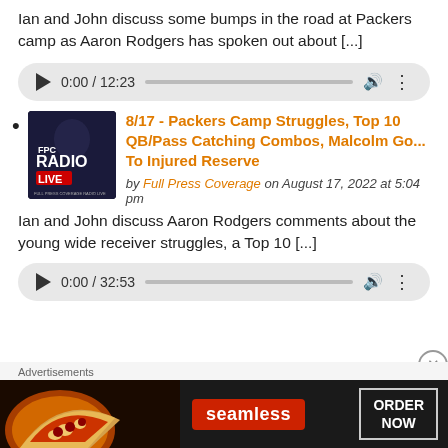Ian and John discuss some bumps in the road at Packers camp as Aaron Rodgers has spoken out about [...]
[Figure (other): Audio player bar showing 0:00 / 12:23 with play button, progress bar, volume and more options icons]
8/17 - Packers Camp Struggles, Top 10 QB/Pass Catching Combos, Malcolm Go... To Injured Reserve by Full Press Coverage on August 17, 2022 at 5:04 pm
Ian and John discuss Aaron Rodgers comments about the young wide receiver struggles, a Top 10 [...]
[Figure (other): Audio player bar showing 0:00 / 32:53 with play button, progress bar, volume and more options icons]
Advertisements
[Figure (other): Seamless food delivery advertisement banner with pizza image, Seamless logo and ORDER NOW button]